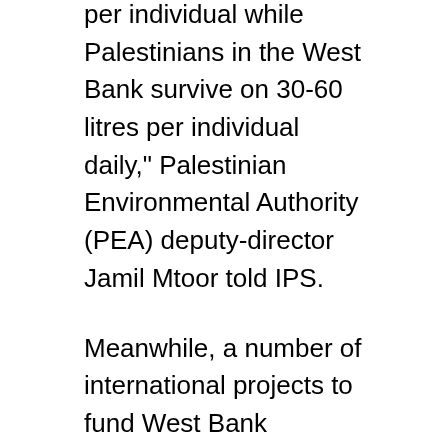per individual while Palestinians in the West Bank survive on 30-60 litres per individual daily," Palestinian Environmental Authority (PEA) deputy-director Jamil Mtoor told IPS.
Meanwhile, a number of international projects to fund West Bank humanitarian aid relief are at risk due to economic shortfalls.
The UN's Consolidated Appeals Process (CAP) reported that although 254 million dollars had been pledged towards the rehabilitation of Gaza, the level of funding for the West Bank continues to be extremely low, with only about 30 percent of needs covered.
The UN's World Food Programme (WFP) has reported a severe shortage for its projects in the West Bank, while